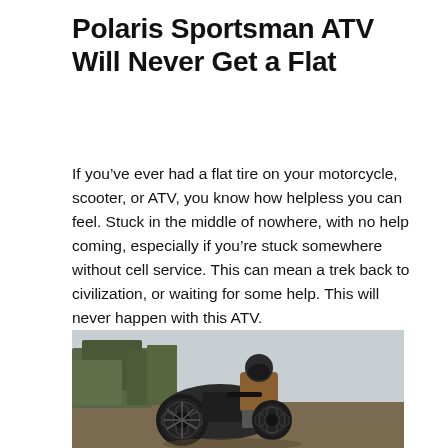Polaris Sportsman ATV Will Never Get a Flat
If you've ever had a flat tire on your motorcycle, scooter, or ATV, you know how helpless you can feel. Stuck in the middle of nowhere, with no help coming, especially if you're stuck somewhere without cell service. This can mean a trek back to civilization, or waiting for some help. This will never happen with this ATV.
[Figure (photo): A rider wearing a helmet and tan jacket rides a Polaris Sportsman ATV with a distinctive honeycomb-style airless tire visible, outdoors among trees.]